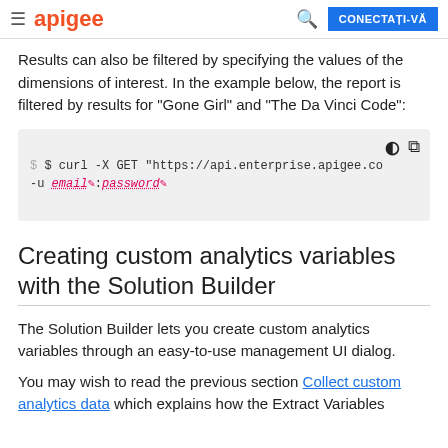apigee  CONECTAȚI-VĂ
Results can also be filtered by specifying the values of the dimensions of interest. In the example below, the report is filtered by results for "Gone Girl" and "The Da Vinci Code":
[Figure (screenshot): Code block showing: $ $ curl -X GET "https://api.enterprise.apigee.co -u email:password with placeholder fields for email and password]
Creating custom analytics variables with the Solution Builder
The Solution Builder lets you create custom analytics variables through an easy-to-use management UI dialog.
You may wish to read the previous section Collect custom analytics data which explains how the Extract Variables